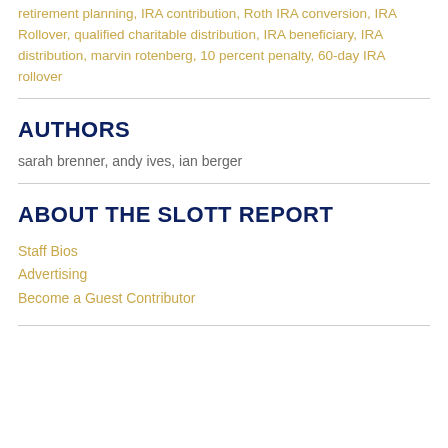retirement planning, IRA contribution, Roth IRA conversion, IRA Rollover, qualified charitable distribution, IRA beneficiary, IRA distribution, marvin rotenberg, 10 percent penalty, 60-day IRA rollover
AUTHORS
sarah brenner, andy ives, ian berger
ABOUT THE SLOTT REPORT
Staff Bios
Advertising
Become a Guest Contributor